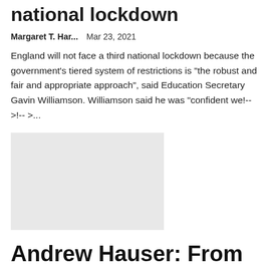national lockdown
Margaret T. Har...   Mar 23, 2021
England will not face a third national lockdown because the government's tiered system of restrictions is "the robust and fair and appropriate approach", said Education Secretary Gavin Williamson. Williamson said he was "confident we!-- >!-- >...
[Figure (photo): Placeholder grey rectangle image]
Andrew Hauser: From lender of last resort to market maker of last resort via spot racing